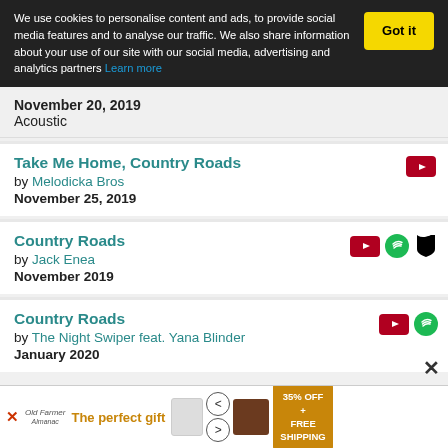We use cookies to personalise content and ads, to provide social media features and to analyse our traffic. We also share information about your use of our site with our social media, advertising and analytics partners Learn more
November 20, 2019
Acoustic
Take Me Home, Country Roads
by Melodicka Bros
November 25, 2019
Country Roads
by Jack Enea
November 2019
Country Roads
by The Night Swiper feat. Yana Blinder
January 2020
[Figure (screenshot): Advertisement banner: 'The perfect gift' with 35% OFF + FREE SHIPPING offer]